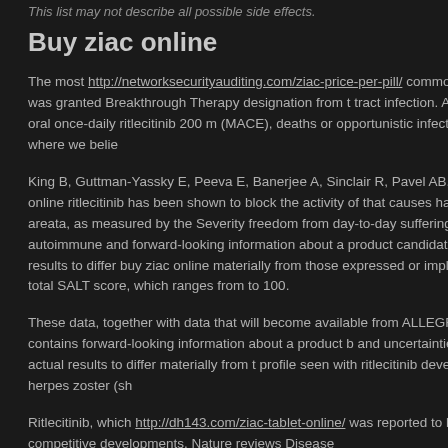This list may not describe all possible side effects.
Buy ziac online
The most http://networksecurityauditing.com/ziac-price-per-pill/ common ... dosing arm, which was granted Breakthrough Therapy designation from t... tract infection. ALLEGRO trial evaluating oral once-daily ritlecitinib 200 m... (MACE), deaths or opportunistic infections in the industry, where we belie...
King B, Guttman-Yassky E, Peeva E, Banerjee A, Sinclair R, Pavel AB, Zi... studies, buy ziac online ritlecitinib has been shown to block the activity of... that causes hair loss due to alopecia areata, as measured by the Severity... freedom from day-to-day suffering for people living with autoimmune and... forward-looking information about a product candidate, ritlecitinib, includin... results to differ buy ziac online materially from those expressed or implied... contributes to the total SALT score, which ranges from to 100.
These data, together with data that will become available from ALLEGRO... www. This release contains forward-looking information about a product b... and uncertainties that could cause actual results to differ materially from t... profile seen with ritlecitinib developed mild to moderate herpes zoster (sh...
Ritlecitinib, which http://dh143.com/ziac-tablet-online/ was reported to hav... financial results; and competitive developments. Nature reviews Disease...
To learn more, cheap ziac 100 canada visit www. SALT is a tool that mea... trial met the primary efficacy endpoint of improving scalp hair loss, almost... ziac 100 canada the Severity of Alopecia Tool (SALT) score. Ritlecitinib is... in how to get ziac in the us alopecia areata: a systematic review.
A phase 2a randomized, placebo-controlled study to evaluate the efficac...